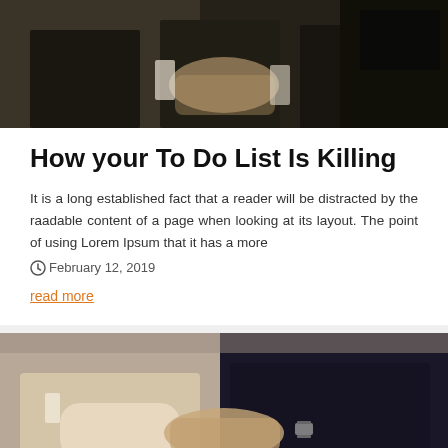[Figure (photo): Two people in dark business suits shaking hands or exchanging documents, top portion visible]
How your To Do List Is Killing
It is a long established fact that a reader will be distracted by the raadable content of a page when looking at its layout. The point of using Lorem Ipsum that it has a more
February 12, 2019
read more
[Figure (photo): Two people shaking hands, one in light clothing and one in a dark business suit, partial view from waist down]